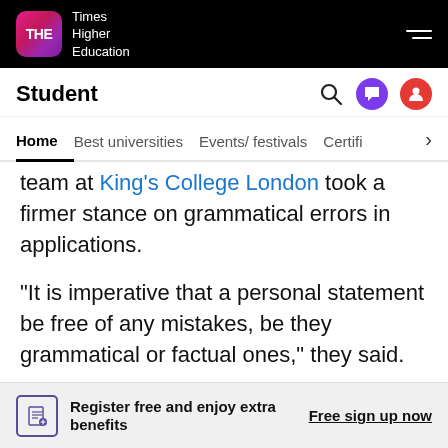THE Times Higher Education
Student
Home | Best universities | Events/ festivals | Certifi
team at King's College London took a firmer stance on grammatical errors in applications.
“It is imperative that a personal statement be free of any mistakes, be they grammatical or factual ones,” they said.
“An essay littered with mistakes will give the reader an impression that the writer is
Register free and enjoy extra benefits
Free sign up now